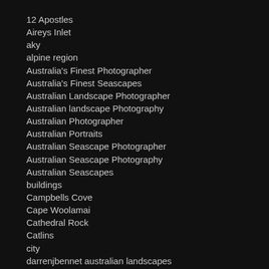12 Apostles
Aireys Inlet
aky
alpine region
Australia's Finest Photographer
Australia's Finest Seascapes
Australian Landscape Photographer
Australian landscape Photography
Australian Photographer
Australian Portraits
Australian Seascape Photographer
Australian Seascape Photography
Australian Seascapes
buildings
Campbells Cove
Cape Woolamai
Cathedral Rock
Catlins
city
darrenjbennet australian landscapes
darrenjbennett Australian Landscapes
Docklands
ds
Fine Art Prints